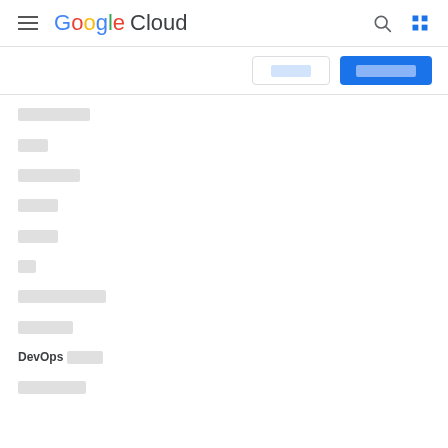Google Cloud [hamburger menu] [search] [grid icon]
[Sign in button] [Get started button]
████████
███
███████
████
████
██
██████████
██████
DevOps ████
████████